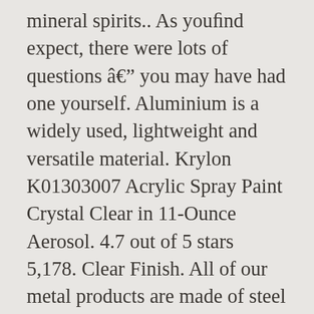mineral spirits.. As you'd expect, there were lots of questions – you may have had one yourself. Aluminium is a widely used, lightweight and versatile material. Krylon K01303007 Acrylic Spray Paint Crystal Clear in 11-Ounce Aerosol. 4.7 out of 5 stars 5,178. Clear Finish. All of our metal products are made of steel with a powder coated finish, which provides protection from the elements while resisting fading, chipping, corrosion, and other signs of wear. FREE Shipping on orders over $25 shipped by Amazon. I purchased weldable steel 22 gauge metal and induced rust. Clear, Protective Coating for Metal. I used Everbrite on a recent cabinet project. 4.4 out of 5 stars 1,174. Would be nice